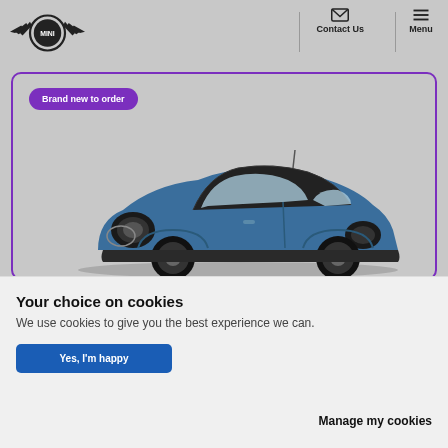[Figure (logo): MINI car brand logo with wings and circle]
Contact Us
Menu
Brand new to order
[Figure (photo): Blue MINI Cooper 3-door hatchback car shown from front-left angle]
Your choice on cookies
We use cookies to give you the best experience we can.
Yes, I'm happy
Manage my cookies